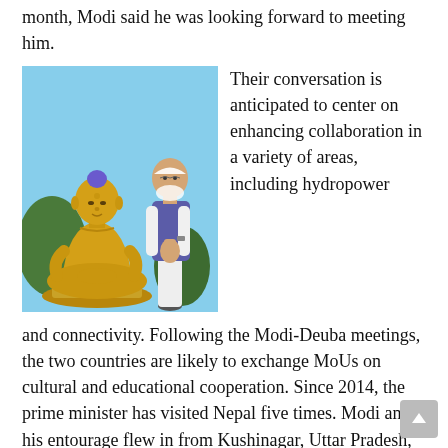month, Modi said he was looking forward to meeting him.
[Figure (photo): A golden Buddha statue seated in meditation pose with Prime Minister Narendra Modi standing beside it with hands folded in a namaste gesture, against a blue sky background.]
Their conversation is anticipated to center on enhancing collaboration in a variety of areas, including hydropower and connectivity. Following the Modi-Deuba meetings, the two countries are likely to exchange MoUs on cultural and educational cooperation. Since 2014, the prime minister has visited Nepal five times. Modi and his entourage flew in from Kushinagar, Uttar Pradesh, aboard a special Indian Air Force helicopter.
Modi's discussions with Deuba will have a broad agenda, Foreign Secretary Vinay Mohan Kwatra said on Friday. Nepal's transportation of goods and services is mainly reliant on India.